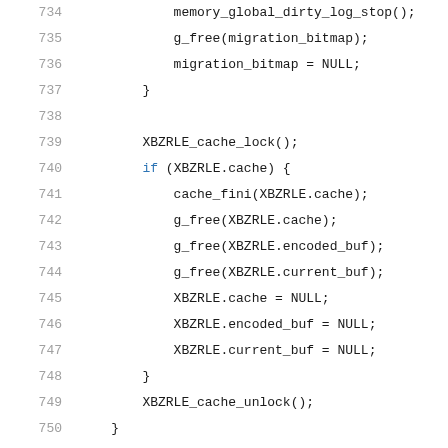Code listing lines 734–754: memory migration cleanup and ram_migration_cancel function in C